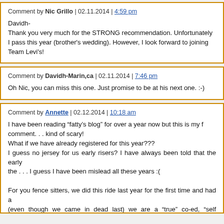Comment by Nic Grillo | 02.11.2014 | 4:59 pm
Davidh-
Thank you very much for the STRONG recommendation. Unfortunately I pass this year (brother's wedding). However, I look forward to joining Team Levi's!
Comment by Davidh-Marin,ca | 02.11.2014 | 7:46 pm
Oh Nic, you can miss this one. Just promise to be at his next one. :-)
Comment by Annette | 02.12.2014 | 10:18 am
I have been reading “fatty’s blog” for over a year now but this is my first comment. . . kind of scary!
What if we have already registered for this year???
I guess no jersey for us early risers? I have always been told that the early the . . . I guess I have been mislead all these years :(

For you fence sitters, we did this ride last year for the first time and had a (even though we came in dead last) we are a “true” co-ed, “self supported” team with a median age of 51.75 (207 cumulative years) and we are working hard this have been talking, discussing, planning, and getting the logistics ironed out what to do differently as we look forward to finishing before dark this year.